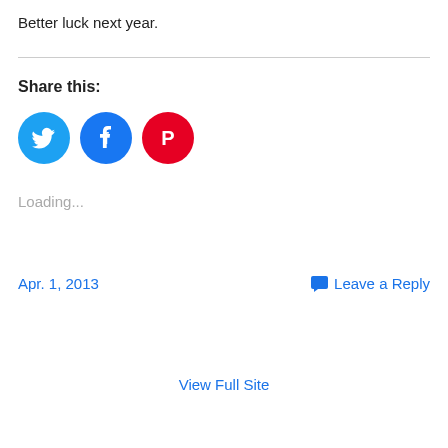Better luck next year.
Share this:
[Figure (other): Three social media share buttons: Twitter (blue circle with bird icon), Facebook (blue circle with f icon), Pinterest (red circle with P icon)]
Loading...
Apr. 1, 2013
Leave a Reply
View Full Site